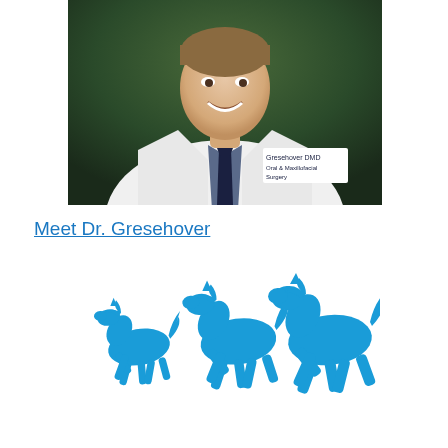[Figure (photo): Professional headshot of Dr. Gresehover in a white lab coat with name embroidery reading 'Gresehover DMD, Oral & Maxillofacial Surgery', wearing a dark tie and blue shirt, smiling against a dark green background.]
Meet Dr. Gresehover
[Figure (logo): Three blue silhouette horses running to the right, used as a practice logo.]